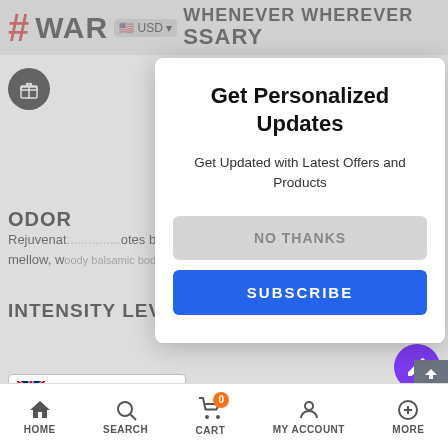[Figure (screenshot): Background of a shopping website with navigation bar showing hash, WAR text, USD currency, and WHENEVER WHEREVER NECESSARY text partially visible]
Get Personalized Updates
Get Updated with Latest Offers and Products
NO THANKS
SUBSCRIBE
ODOR
Rejuvenat... otes but mellow, woody balsamic body notes.
INTENSITY LEVEL
English
HOME   SEARCH   CART 0   MY ACCOUNT   MORE